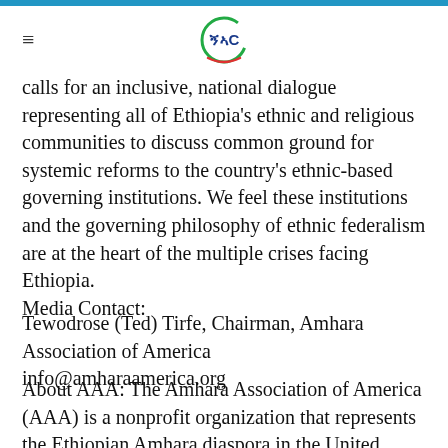≡ [logo: ምናC]
calls for an inclusive, national dialogue representing all of Ethiopia's ethnic and religious communities to discuss common ground for systemic reforms to the country's ethnic-based governing institutions. We feel these institutions and the governing philosophy of ethnic federalism are at the heart of the multiple crises facing Ethiopia.
Media Contact:
Tewodrose (Ted) Tirfe, Chairman, Amhara Association of America
info@amharaamerica.org
About AAA: The Amhara Association of America (AAA) is a nonprofit organization that represents the Ethiopian Amhara diaspora in the United States. Visit www.amharaamerica.org for more information.